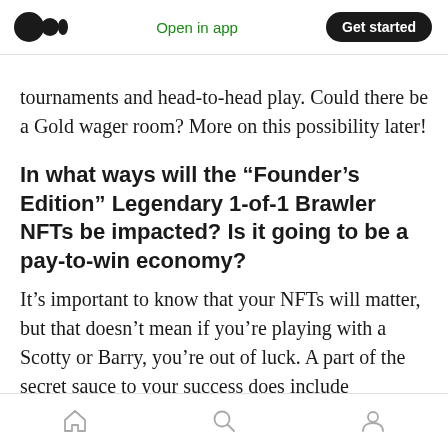Medium — Open in app | Get started
tournaments and head-to-head play. Could there be a Gold wager room? More on this possibility later!
In what ways will the “Founder’s Edition” Legendary 1-of-1 Brawler NFTs be impacted? Is it going to be a pay-to-win economy?
It’s important to know that your NFTs will matter, but that doesn’t mean if you’re playing with a Scotty or Barry, you’re out of luck. A part of the secret sauce to your success does include
Home | Search | Profile